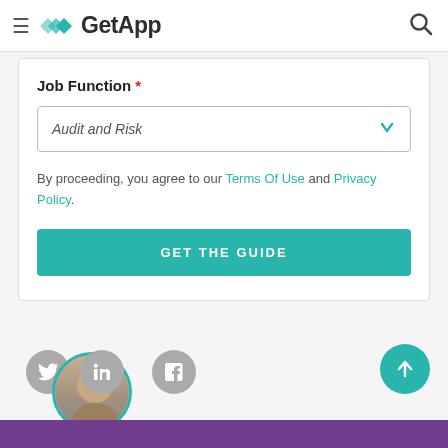GetApp
Job Function *
Audit and Risk
By proceeding, you agree to our Terms Of Use and Privacy Policy.
GET THE GUIDE
[Figure (illustration): Social media share buttons (Twitter, LinkedIn, Facebook) and a scroll-to-top button, plus a circular author avatar with teal border, over a purple footer bar]